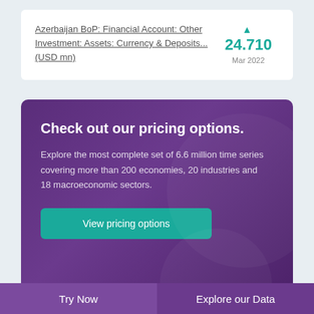Azerbaijan BoP: Financial Account: Other Investment: Assets: Currency & Deposits... (USD mn)
▲ 24.710 Mar 2022
Check out our pricing options.
Explore the most complete set of 6.6 million time series covering more than 200 economies, 20 industries and 18 macroeconomic sectors.
View pricing options
Try Now | Explore our Data